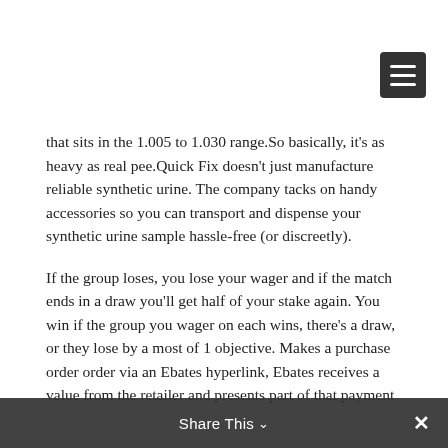that sits in the 1.005 to 1.030 range.So basically, it's as heavy as real pee.Quick Fix doesn't just manufacture reliable synthetic urine. The company tacks on handy accessories so you can transport and dispense your synthetic urine sample hassle-free (or discreetly).
If the group loses, you lose your wager and if the match ends in a draw you'll get half of your stake again. You win if the group you wager on each wins, there's a draw, or they lose by a most of 1 objective. Makes a purchase order order via an Ebates hyperlink, Ebates receives a value from the retailer and presents part of that payment as quickly as extra to the patron.
This allows you to access a lot of free options6 such as watching live events, free games, and extra.